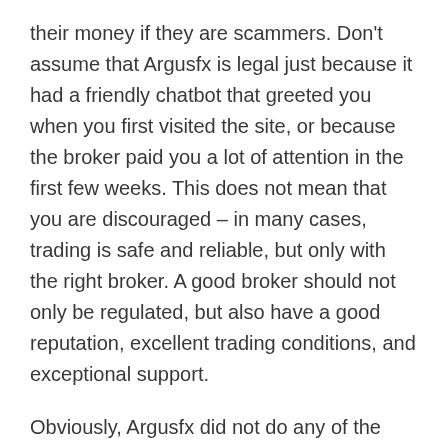their money if they are scammers. Don't assume that Argusfx is legal just because it had a friendly chatbot that greeted you when you first visited the site, or because the broker paid you a lot of attention in the first few weeks. This does not mean that you are discouraged – in many cases, trading is safe and reliable, but only with the right broker. A good broker should not only be regulated, but also have a good reputation, excellent trading conditions, and exceptional support.
Obviously, Argusfx did not do any of the above, and could not even be regarded as a broker, but just a scam in the foreign exchange market. Argusfx hides most of the trading conditions and raises suspicion.
Like most brokers in the industry, Argusfx provides the